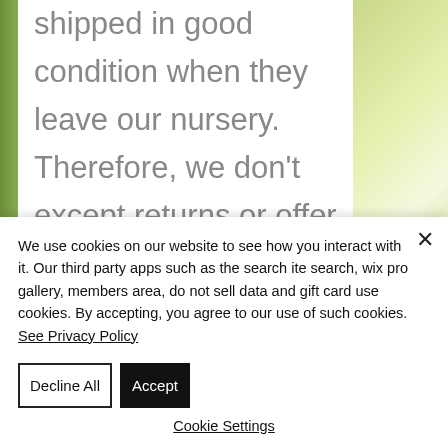shipped in good condition when they leave our nursery. Therefore, we don't except returns or offer refunds. We do not offer cooling off periods all sales are final. Moidart Nurseries is not responsible for the service of Australia Post. Orders are packed and shipped on Mondays to ensure the smallest possible time
We use cookies on our website to see how you interact with it. Our third party apps such as the search ite search, wix pro gallery, members area, do not sell data and gift card use cookies. By accepting, you agree to our use of such cookies. See Privacy Policy
Decline All
Accept
Cookie Settings